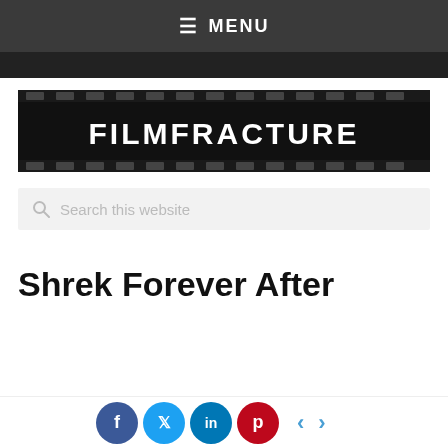≡ MENU
[Figure (logo): FilmFracture website logo — film strip background with white stencil-style text reading FILMFRACTURE]
Search this website
Shrek Forever After